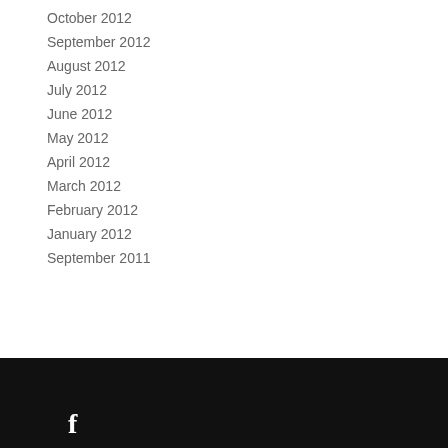October 2012
September 2012
August 2012
July 2012
June 2012
May 2012
April 2012
March 2012
February 2012
January 2012
September 2011